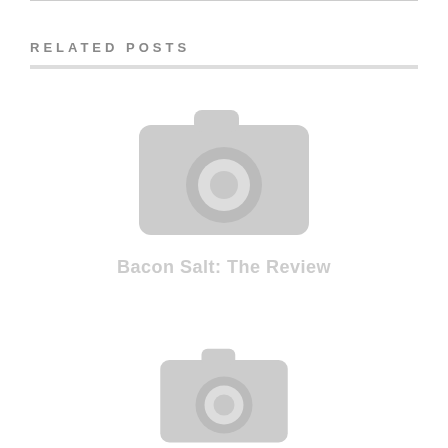RELATED POSTS
[Figure (illustration): Camera placeholder icon (grey) for a related post thumbnail]
Bacon Salt: The Review
[Figure (illustration): Camera placeholder icon (grey) for a second related post thumbnail, partially visible at bottom]